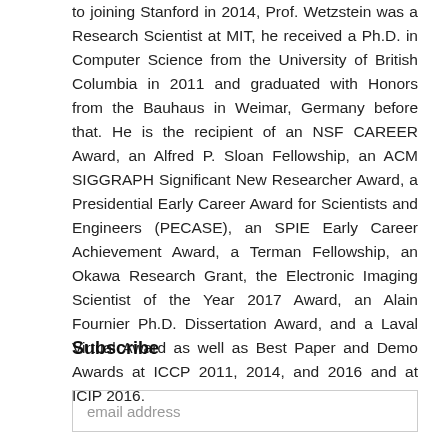to joining Stanford in 2014, Prof. Wetzstein was a Research Scientist at MIT, he received a Ph.D. in Computer Science from the University of British Columbia in 2011 and graduated with Honors from the Bauhaus in Weimar, Germany before that. He is the recipient of an NSF CAREER Award, an Alfred P. Sloan Fellowship, an ACM SIGGRAPH Significant New Researcher Award, a Presidential Early Career Award for Scientists and Engineers (PECASE), an SPIE Early Career Achievement Award, a Terman Fellowship, an Okawa Research Grant, the Electronic Imaging Scientist of the Year 2017 Award, an Alain Fournier Ph.D. Dissertation Award, and a Laval Virtual Award as well as Best Paper and Demo Awards at ICCP 2011, 2014, and 2016 and at ICIP 2016.
Subscribe